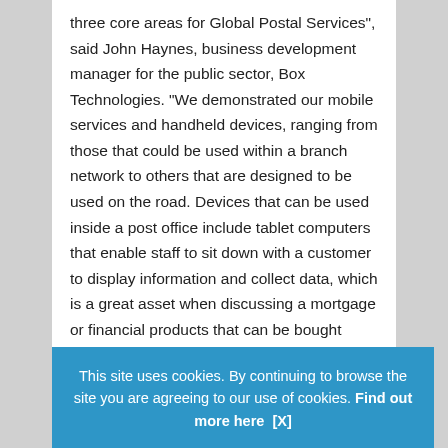three core areas for Global Postal Services", said John Haynes, business development manager for the public sector, Box Technologies. “We demonstrated our mobile services and handheld devices, ranging from those that could be used within a branch network to others that are designed to be used on the road. Devices that can be used inside a post office include tablet computers that enable staff to sit down with a customer to display information and collect data, which is a great asset when discussing a mortgage or financial products that can be bought through the post office network."
Box also demonstrated its self-service products, which in... digital si... also on s...
This site uses cookies. By continuing to browse the site you are agreeing to our use of cookies. Find out more here   [X]